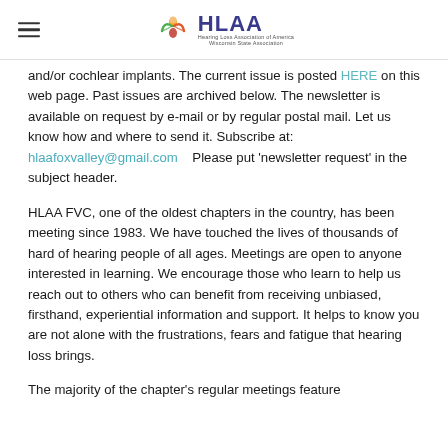HLAA — Hearing Loss Association of America, Wisconsin State Association
and/or cochlear implants. The current issue is posted HERE on this web page. Past issues are archived below. The newsletter is available on request by e-mail or by regular postal mail. Let us know how and where to send it. Subscribe at: hlaafoxvalley@gmail.com   Please put 'newsletter request' in the subject header.
HLAA FVC, one of the oldest chapters in the country, has been meeting since 1983. We have touched the lives of thousands of hard of hearing people of all ages. Meetings are open to anyone interested in learning. We encourage those who learn to help us reach out to others who can benefit from receiving unbiased, firsthand, experiential information and support. It helps to know you are not alone with the frustrations, fears and fatigue that hearing loss brings.
The majority of the chapter's regular meetings feature